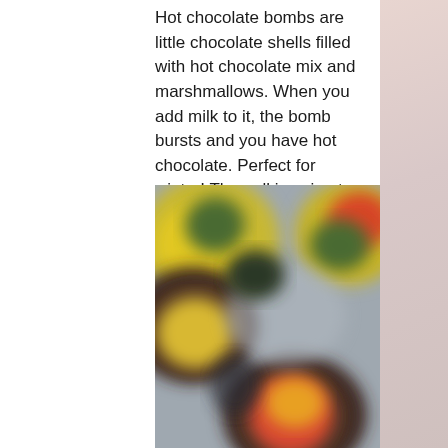Hot chocolate bombs are little chocolate shells filled with hot chocolate mix and marshmallows. When you add milk to it, the bomb bursts and you have hot chocolate. Perfect for winter! The poll is going to end on January 1st, so get your vote in now!
[Figure (photo): Close-up blurred photo of colorful items (yellow, red, green) in bowls on a gray-blue surface, likely fruit or food items.]